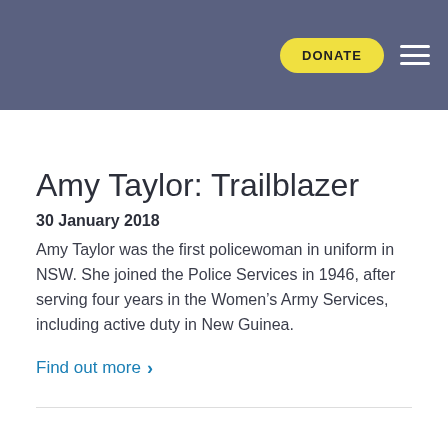DONATE  ☰
Amy Taylor: Trailblazer
30 January 2018
Amy Taylor was the first policewoman in uniform in NSW. She joined the Police Services in 1946, after serving four years in the Women's Army Services, including active duty in New Guinea.
Find out more  ›